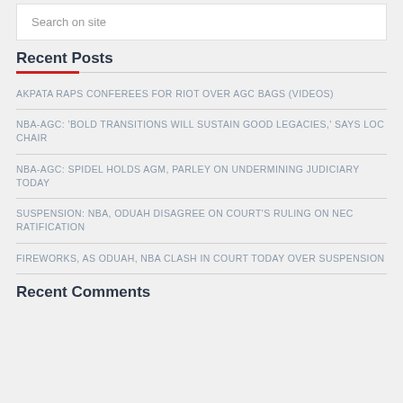Search on site
Recent Posts
AKPATA RAPS CONFEREES FOR RIOT OVER AGC BAGS (VIDEOS)
NBA-AGC: 'BOLD TRANSITIONS WILL SUSTAIN GOOD LEGACIES,' SAYS LOC CHAIR
NBA-AGC: SPIDEL HOLDS AGM, PARLEY ON UNDERMINING JUDICIARY TODAY
SUSPENSION: NBA, ODUAH DISAGREE ON COURT'S RULING ON NEC RATIFICATION
FIREWORKS, AS ODUAH, NBA CLASH IN COURT TODAY OVER SUSPENSION
Recent Comments